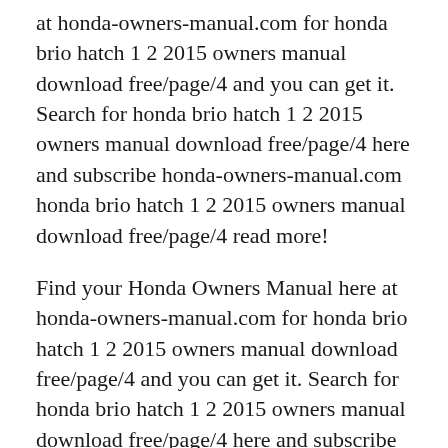at honda-owners-manual.com for honda brio hatch 1 2 2015 owners manual download free/page/4 and you can get it. Search for honda brio hatch 1 2 2015 owners manual download free/page/4 here and subscribe honda-owners-manual.com honda brio hatch 1 2 2015 owners manual download free/page/4 read more!
Find your Honda Owners Manual here at honda-owners-manual.com for honda brio hatch 1 2 2015 owners manual download free/page/4 and you can get it. Search for honda brio hatch 1 2 2015 owners manual download free/page/4 here and subscribe honda-owners-manual.com honda brio hatch 1 2 2015 owners manual download free/page/4 read more! Selamat datang di